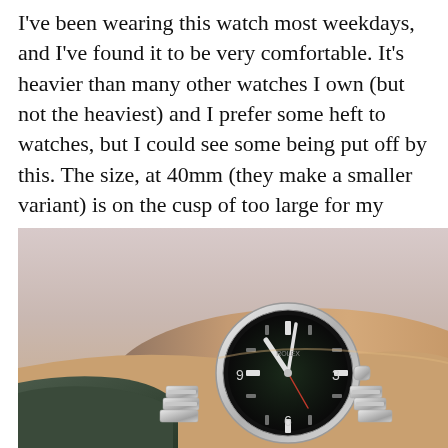I've been wearing this watch most weekdays, and I've found it to be very comfortable. It's heavier than many other watches I own (but not the heaviest) and I prefer some heft to watches, but I could see some being put off by this. The size, at 40mm (they make a smaller variant) is on the cusp of too large for my wrists (just under 7″ wrist) but still wore very comfortably.
[Figure (photo): Close-up photo of a person's wrist wearing a stainless steel Rolex Explorer watch with a black dial, showing the watch on a dark jacket sleeve. The watch displays markers at 3, 6, 9 positions with hour and minute hands visible.]